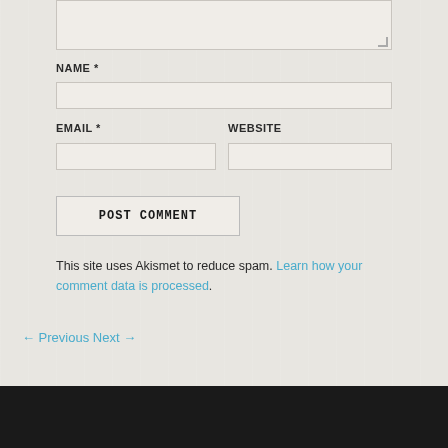[Figure (screenshot): Textarea input stub at top of page (comment form)]
NAME *
[Figure (screenshot): Name text input field]
EMAIL *
WEBSITE
[Figure (screenshot): Email text input field]
[Figure (screenshot): Website text input field]
POST COMMENT
This site uses Akismet to reduce spam. Learn how your comment data is processed.
← Previous Next →
[Figure (photo): Dark image strip at bottom]